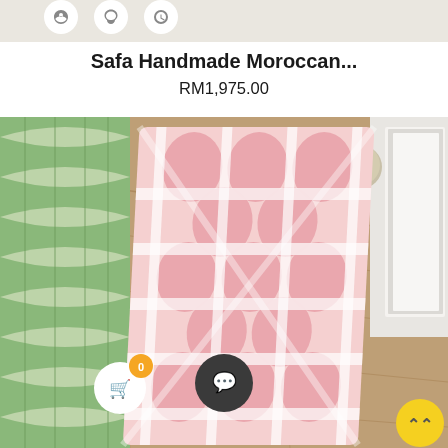[Figure (screenshot): Top navigation bar with three circular icon buttons on a beige/tan background]
Safa Handmade Moroccan...
RM1,975.00
[Figure (photo): A pink and white fluffy Moroccan trellis pattern rug on a wooden floor, with a green patterned sofa cushion on the left and a white door and plant in the background. A dark chat button overlay and yellow scroll-up button are visible.]